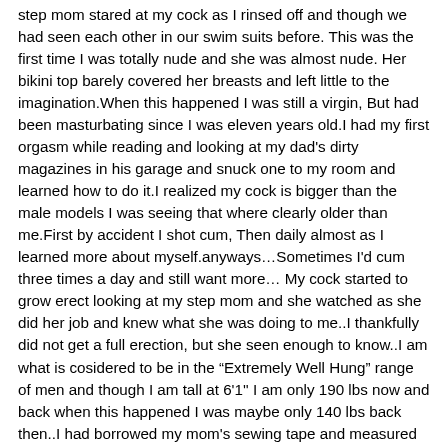step mom stared at my cock as I rinsed off and though we had seen each other in our swim suits before. This was the first time I was totally nude and she was almost nude. Her bikini top barely covered her breasts and left little to the imagination.When this happened I was still a virgin, But had been masturbating since I was eleven years old.I had my first orgasm while reading and looking at my dad's dirty magazines in his garage and snuck one to my room and learned how to do it.I realized my cock is bigger than the male models I was seeing that where clearly older than me.First by accident I shot cum, Then daily almost as I learned more about myself.anyways…Sometimes I'd cum three times a day and still want more… My cock started to grow erect looking at my step mom and she watched as she did her job and knew what she was doing to me..I thankfully did not get a full erection, but she seen enough to know..I am what is cosidered to be in the "Extremely Well Hung" range of men and though I am tall at 6'1'' I am only 190 lbs now and back when this happened I was maybe only 140 lbs back then..I had borrowed my mom's sewing tape and measured my erect cock and was even surprised at how long and thick my cock gets. At age 13 my